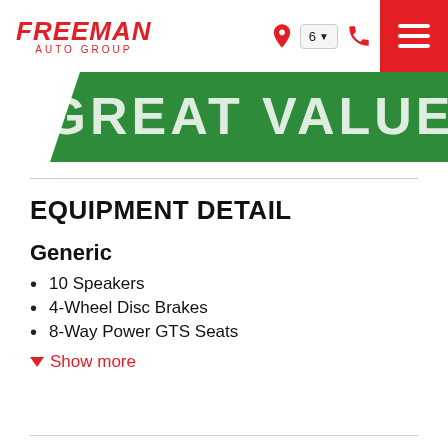FREEMAN AUTO GROUP
[Figure (illustration): Green angled banner with bold white text reading GREAT VALUE]
EQUIPMENT DETAIL
Generic
10 Speakers
4-Wheel Disc Brakes
8-Way Power GTS Seats
Show more